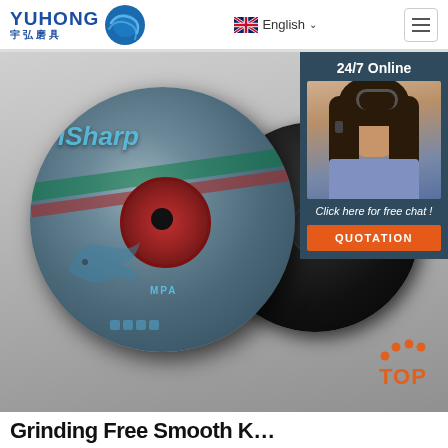YUHONG 宇弘磨具 | English
[Figure (photo): Product photo showing two grinding/cutting discs. Front disc has iSharp label with shark graphic and MPA marking. Back disc is plain black. A customer service chat panel overlay on the right shows '24/7 Online', a smiling woman with headset, 'Click here for free chat!' text and an orange QUOTATION button. An orange TOP navigation icon appears at bottom right.]
Grinding Free Smooth K...